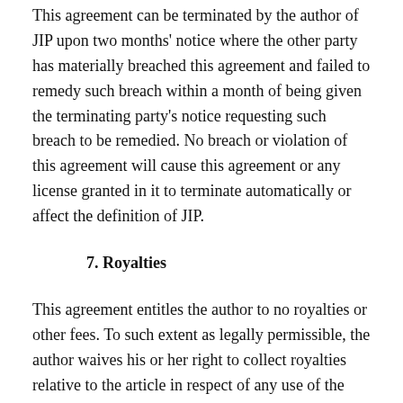This agreement can be terminated by the author of JIP upon two months' notice where the other party has materially breached this agreement and failed to remedy such breach within a month of being given the terminating party's notice requesting such breach to be remedied. No breach or violation of this agreement will cause this agreement or any license granted in it to terminate automatically or affect the definition of JIP.
7. Royalties
This agreement entitles the author to no royalties or other fees. To such extent as legally permissible, the author waives his or her right to collect royalties relative to the article in respect of any use of the article by JIP or its sublicensee.
8. Miscellaneous
JIP will publish the article (or have it published) in the journal if the article's editorial process is successfully completed and JIP or its sublicensee has become obligated to have the article published